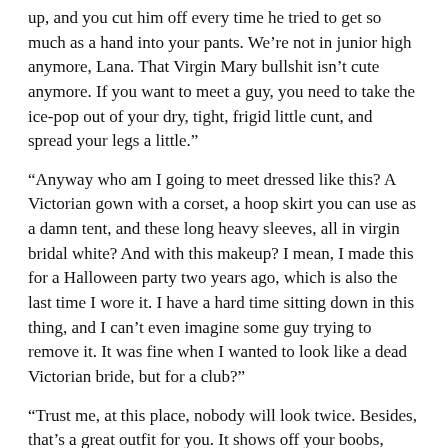up, and you cut him off every time he tried to get so much as a hand into your pants. We’re not in junior high anymore, Lana. That Virgin Mary bullshit isn’t cute anymore. If you want to meet a guy, you need to take the ice-pop out of your dry, tight, frigid little cunt, and spread your legs a little.”
“Anyway who am I going to meet dressed like this? A Victorian gown with a corset, a hoop skirt you can use as a damn tent, and these long heavy sleeves, all in virgin bridal white? And with this makeup? I mean, I made this for a Halloween party two years ago, which is also the last time I wore it. I have a hard time sitting down in this thing, and I can’t even imagine some guy trying to remove it. It was fine when I wanted to look like a dead Victorian bride, but for a club?”
“Trust me, at this place, nobody will look twice. Besides, that’s a great outfit for you. It shows off your boobs, hides those skinny little chicken legs of yours, and your long red hair sets everything off perfectly.” Jamie grinned confidently, fighting the urge to snap back.